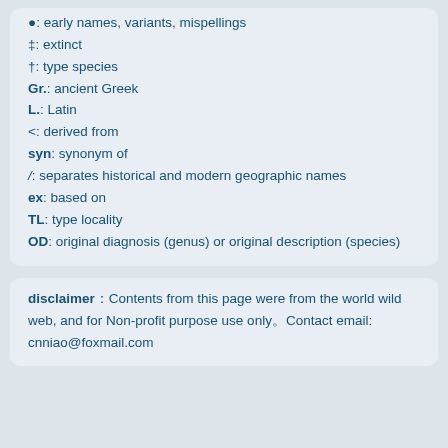●: early names, variants, mispellings
‡: extinct
†: type species
Gr.: ancient Greek
L.: Latin
<: derived from
syn: synonym of
/: separates historical and modern geographic names
ex: based on
TL: type locality
OD: original diagnosis (genus) or original description (species)
disclaimer：Contents from this page were from the world wild web, and for Non-profit purpose use only。Contact email: cnniao@foxmail.com